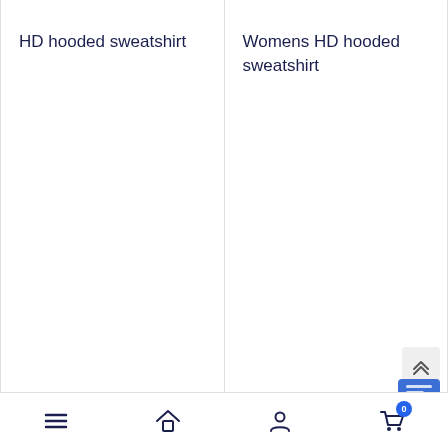HD hooded sweatshirt
Womens HD hooded sweatshirt
[Figure (screenshot): Scroll-to-top button with double chevron up arrows]
[Figure (screenshot): Partially visible blue chat/help widget icon]
Bottom navigation bar with menu (hamburger), home, account, and cart (0) icons